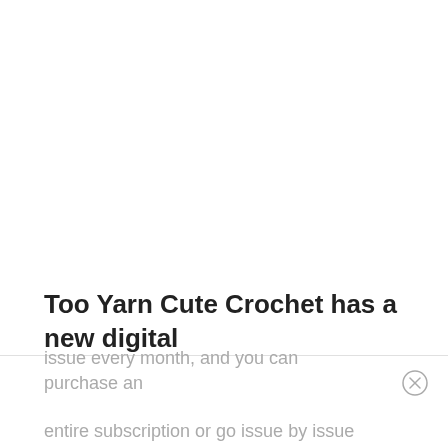Too Yarn Cute Crochet has a new digital
issue every month, and you can purchase an entire subscription or go issue by issue
[Figure (other): Close/dismiss button (circle with X)]